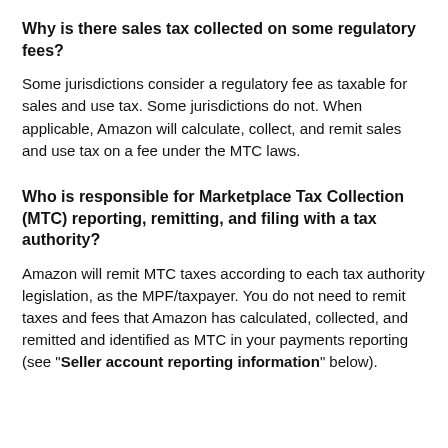Why is there sales tax collected on some regulatory fees?
Some jurisdictions consider a regulatory fee as taxable for sales and use tax. Some jurisdictions do not. When applicable, Amazon will calculate, collect, and remit sales and use tax on a fee under the MTC laws.
Who is responsible for Marketplace Tax Collection (MTC) reporting, remitting, and filing with a tax authority?
Amazon will remit MTC taxes according to each tax authority legislation, as the MPF/taxpayer. You do not need to remit taxes and fees that Amazon has calculated, collected, and remitted and identified as MTC in your payments reporting (see "Seller account reporting information" below).